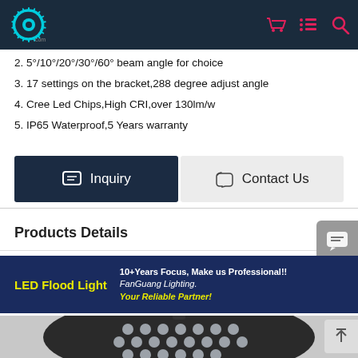FanGuang Lighting website header with logo and navigation icons
2. 5°/10°/20°/30°/60° beam angle for choice
3. 17 settings on the bracket,288 degree adjust angle
4. Cree Led Chips,High CRI,over 130lm/w
5. IP65 Waterproof,5 Years warranty
Inquiry | Contact Us
Products Details
[Figure (illustration): LED Flood Light banner: yellow 'LED Flood Light' text on dark blue background with '10+Years Focus, Make us Professional!! FanGuang Lighting. Your Reliable Partner!' in white/yellow italic text]
[Figure (photo): LED Flood Light product photo showing circular array of LED lenses in dark housing viewed from front]